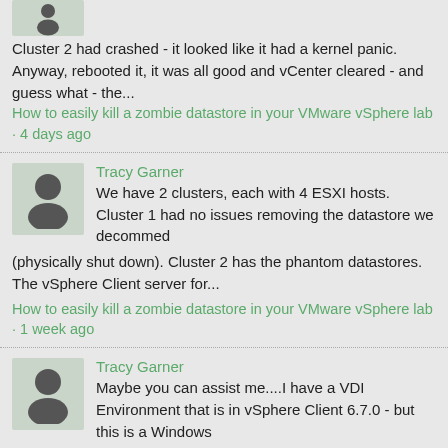Cluster 2 had crashed - it looked like it had a kernel panic. Anyway, rebooted it, it was all good and vCenter cleared - and guess what - the...
How to easily kill a zombie datastore in your VMware vSphere lab · 4 days ago
Tracy Garner
We have 2 clusters, each with 4 ESXI hosts. Cluster 1 had no issues removing the datastore we decommed (physically shut down). Cluster 2 has the phantom datastores. The vSphere Client server for...
How to easily kill a zombie datastore in your VMware vSphere lab · 1 week ago
Tracy Garner
Maybe you can assist me....I have a VDI Environment that is in vSphere Client 6.7.0 - but this is a Windows server - not Linux. (I inherited this). Your instruction video would be great if this...
How to easily kill a zombie datastore in your VMware vSphere lab · 1 week ago